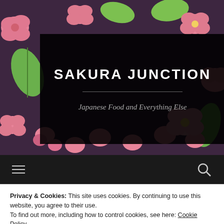[Figure (photo): Hero image of pink Japanese wagashi sweets (sakura/cherry blossom shaped confections) with green leaf decorations on a dark background, with a black semi-transparent overlay box containing the site title and tagline.]
SAKURA JUNCTION
Japanese Food and Everything Else
[Figure (other): Navigation bar with hamburger menu icon on left and search icon on right, dark background.]
Privacy & Cookies: This site uses cookies. By continuing to use this website, you agree to their use.
To find out more, including how to control cookies, see here: Cookie Policy
Close and accept